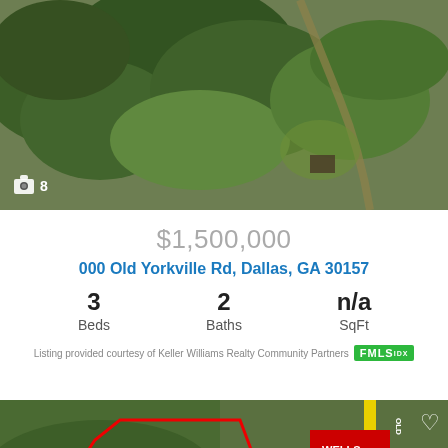[Figure (photo): Aerial drone photograph of forested land property in Dallas, GA, showing dense tree coverage with a road visible. Photo counter showing camera icon and '8' in bottom left corner.]
$1,500,000
000 Old Yorkville Rd, Dallas, GA 30157
|  |  |  |
| --- | --- | --- |
| 3 | 2 | n/a |
| Beds | Baths | SqFt |
Listing provided courtesy of Keller Williams Realty Community Partners FMLS IDX
[Figure (map): Aerial map showing property tracts labeled Tract 2, Tract 3, Tract 8, Tract 9, Tract 10, Tract 11 with colored outlines (red and blue). Nearby landmarks visible include Wells Fargo, Verizon, and McDonald's. Road labeled PADGETT PATH visible. Yellow road markings visible.]